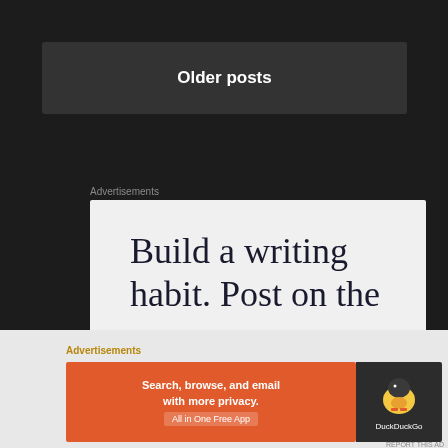Older posts
Advertisements
[Figure (screenshot): Advertisement: Build a writing habit. Post on the go. — with blue button]
Advertisements
[Figure (screenshot): DuckDuckGo ad: Search, browse, and email with more privacy. All in One Free App]